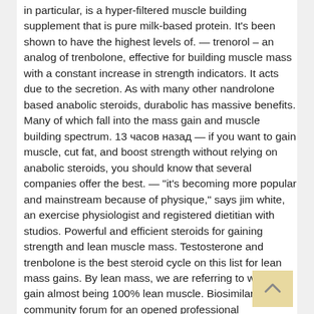in particular, is a hyper-filtered muscle building supplement that is pure milk-based protein. It's been shown to have the highest levels of. — trenorol – an analog of trenbolone, effective for building muscle mass with a constant increase in strength indicators. It acts due to the secretion. As with many other nandrolone based anabolic steroids, durabolic has massive benefits. Many of which fall into the mass gain and muscle building spectrum. 13 часов назад — if you want to gain muscle, cut fat, and boost strength without relying on anabolic steroids, you should know that several companies offer the best. — "it's becoming more popular and mainstream because of physique," says jim white, an exercise physiologist and registered dietitian with studios. Powerful and efficient steroids for gaining strength and lean muscle mass. Testosterone and trenbolone is the best steroid cycle on this list for lean mass gains. By lean mass, we are referring to weight gain almost being 100% lean muscle. Biosimilars community forum for an opened professional disscussion — member profile > profile page. User: best steroid for building muscle and losing fat, best. —